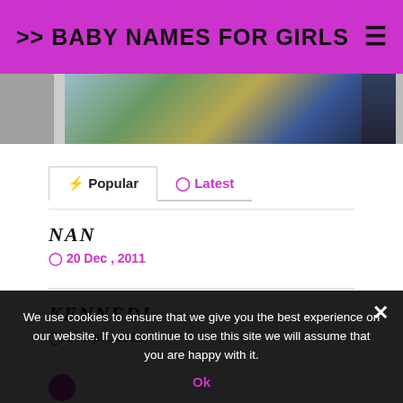>> BABY NAMES FOR GIRLS
[Figure (photo): Strip of thumbnail images partially visible — clothing/bag photos and a dark underwater or night scene photo]
Popular
Latest
NAN
20 Dec , 2011
KENNEDI
24 Apr , 2013
We use cookies to ensure that we give you the best experience on our website. If you continue to use this site we will assume that you are happy with it.
Ok